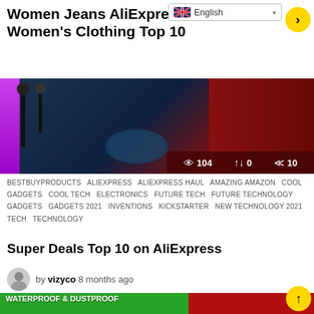Women Jeans AliExpress Women's Clothing Top 10
[Figure (screenshot): Video thumbnail with dark blue and red background, lamp and bowl, pink strip on left. Stats bar showing 104 views, 0 reposts, 10 shares.]
BESTBUYPRODUCTS   ALIEXPRESS   ALIEXPRESS HAUL   AMAZING AMAZON   COOL GADGETS   COOL TECH   ELECTRONICS   FUTURE TECH   FUTURE TECHNOLOGY   GADGETS   GADGETS 2021   INVENTIONS   KICKSTARTER   NEW TECHNOLOGY 2021   TECH   TECHNOLOGY
Super Deals Top 10 on AliExpress
by vizyco  8 months ago
[Figure (screenshot): Thumbnail showing a solar power bank on rocks with green trim on left side. Green banner says WATERPROOF & DUSTPROOF, Perfect design for outdoor activities. Red right half shows TOP 10, OUTDOOR text.]